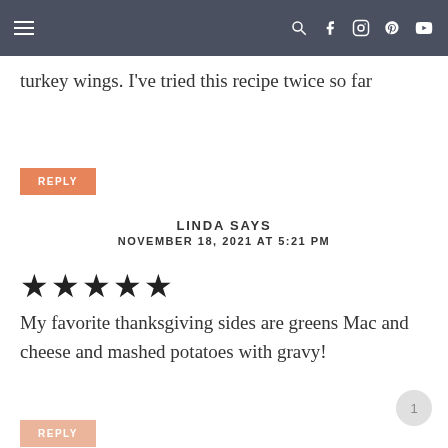Navigation bar with hamburger menu and social icons
turkey wings. I've tried this recipe twice so far
REPLY
LINDA SAYS
NOVEMBER 18, 2021 AT 5:21 PM
[Figure (other): 5 star rating icons (filled black stars)]
My favorite thanksgiving sides are greens Mac and cheese and mashed potatoes with gravy!
REPLY